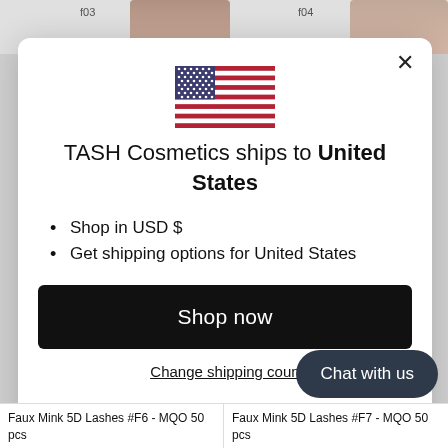f03  f04
[Figure (illustration): US flag icon centered in modal]
TASH Cosmetics ships to United States
Shop in USD $
Get shipping options for United States
Shop now
Change shipping country
Chat with us
Faux Mink 5D Lashes #F6 - MQO 50 pcs    Faux Mink 5D Lashes #F7 - MQO 50 pcs